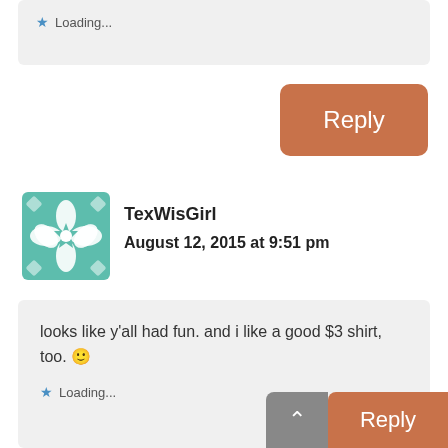★ Loading...
[Figure (other): Orange Reply button]
[Figure (other): Teal quilt-pattern avatar for TexWisGirl]
TexWisGirl
August 12, 2015 at 9:51 pm
looks like y'all had fun. and i like a good $3 shirt, too. 🙂
★ Loading...
[Figure (other): Grey scroll-to-top button with up caret]
[Figure (other): Orange Reply button at bottom]